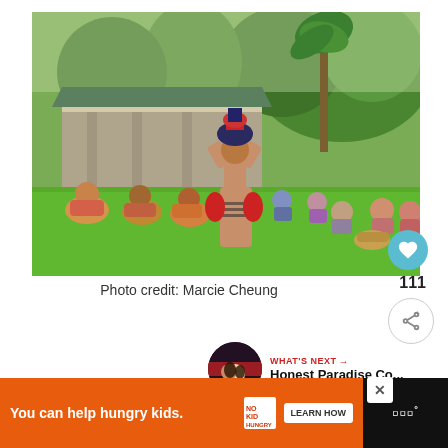[Figure (photo): Outdoor cultural performance: a performer in traditional Polynesian costume (tapa cloth, feathered headdress) stands on green grass facing a seated audience of people wearing leis. A building with green roof and tropical trees visible in background.]
Photo credit: Marcie Cheung
[Figure (infographic): WHAT'S NEXT arrow label above thumbnail image of a couple at night with text 'Honest Paradise Co...']
[Figure (screenshot): Advertisement bar: orange background with text 'You can help hungry kids.' and No Kid Hungry logo with LEARN HOW button. Dark right section with stylized W logo.]